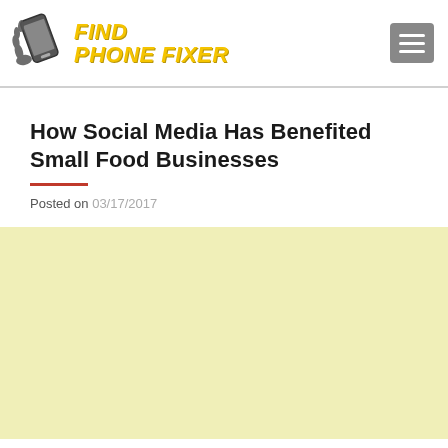[Figure (logo): Find Phone Fixer logo with phone icon and yellow italic bold text]
How Social Media Has Benefited Small Food Businesses
Posted on 03/17/2017
[Figure (other): Yellow/cream colored advertisement or image block]